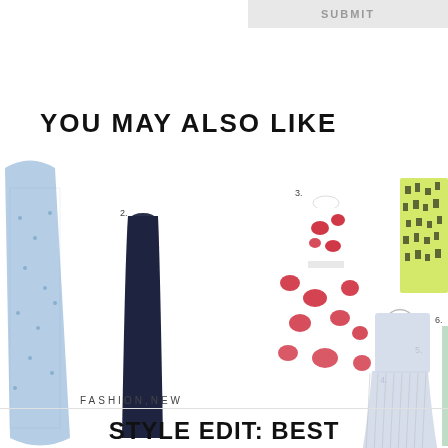SUBMIT
YOU MAY ALSO LIKE
[Figure (photo): Fashion editorial showing 6 numbered dresses: 1. blue sequin gown, 2. navy sleeveless maxi dress, 3. red floral mini dress, 4. light blue pleated long dress, 5. green patterned shift dress, 6. light green trousers/jacket]
FASHION,NEW
STYLE EDIT: BEST